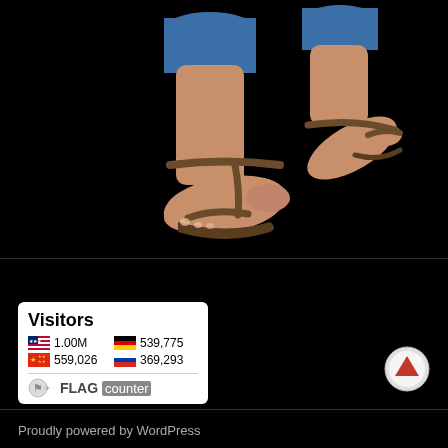[Figure (photo): Photo of a person's lower legs and feet wearing brown strappy sandals and blue jeans, walking against a black background. Only the lower legs from mid-calf down are visible.]
[Figure (infographic): Flag Counter widget showing visitor statistics: Visitors heading, US flag 1.00M, Germany flag 539,775, China flag 559,026, Russia flag 369,293, with FLAG counter logo at the bottom.]
[Figure (other): Circular up-arrow scroll-to-top button with red arrow on white/grey circle background.]
Proudly powered by WordPress